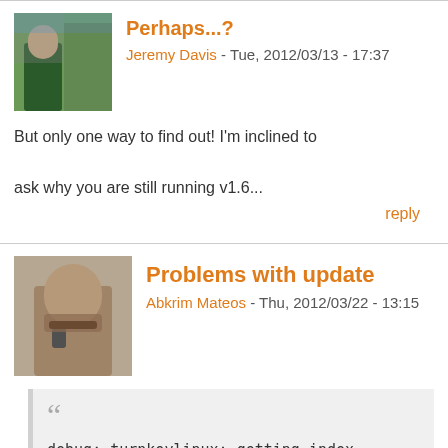Perhaps...?
Jeremy Davis - Tue, 2012/03/13 - 17:37
But only one way to find out! I'm inclined to ask why you are still running v1.6...
reply
Problems with update
Abkrim Mateos - Thu, 2012/03/22 - 13:15
debug: turnkeylinux: getting index
debug: url_get:
http://releases.turnkeylinux.org/pve/aplinfc